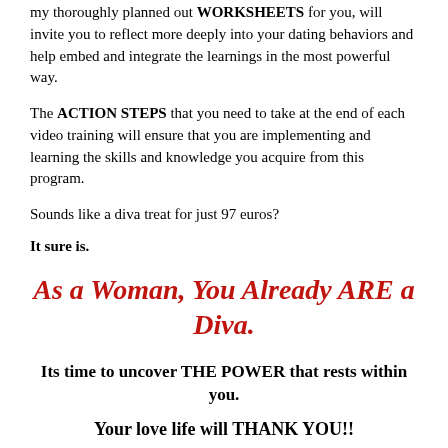my thoroughly planned out WORKSHEETS for you, will invite you to reflect more deeply into your dating behaviors and help embed and integrate the learnings in the most powerful way.
The ACTION STEPS that you need to take at the end of each video training will ensure that you are implementing and learning the skills and knowledge you acquire from this program.
Sounds like a diva treat for just 97 euros?
It sure is.
As a Woman, You Already ARE a Diva.
Its time to uncover THE POWER that rests within you.
Your love life will THANK YOU!!